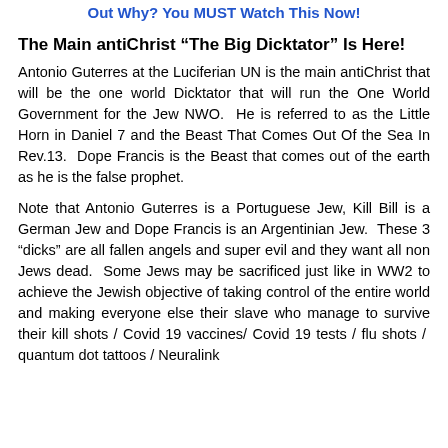Out Why? You MUST Watch This Now!
The Main antiChrist “The Big Dicktator” Is Here!
Antonio Guterres at the Luciferian UN is the main antiChrist that will be the one world Dicktator that will run the One World Government for the Jew NWO.  He is referred to as the Little Horn in Daniel 7 and the Beast That Comes Out Of the Sea In Rev.13.  Dope Francis is the Beast that comes out of the earth as he is the false prophet.
Note that Antonio Guterres is a Portuguese Jew, Kill Bill is a German Jew and Dope Francis is an Argentinian Jew.  These 3 “dicks” are all fallen angels and super evil and they want all non Jews dead.  Some Jews may be sacrificed just like in WW2 to achieve the Jewish objective of taking control of the entire world and making everyone else their slave who manage to survive their kill shots / Covid 19 vaccines/ Covid 19 tests / flu shots /  quantum dot tattoos / Neuralink